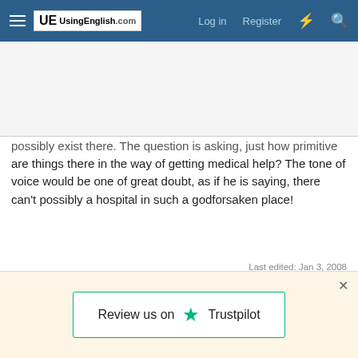UsingEnglish.com - Log in - Register
possibly exist there. The question is asking, just how primitive are things there in the way of getting medical help? The tone of voice would be one of great doubt, as if he is saying, there can't possibly a hospital in such a godforsaken place!
Last edited: Jan 3, 2008
Not open for further replies.
Share:
[Figure (logo): Review us on Trustpilot banner with green star logo]